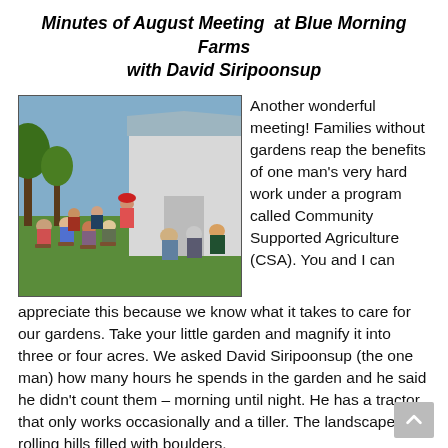Minutes of August Meeting at Blue Morning Farms with David Siripoonsup
[Figure (photo): Outdoor community meeting at Blue Morning Farms. People sitting in lawn chairs on green grass in front of a white barn building, with trees in background on a sunny day.]
Another wonderful meeting! Families without gardens reap the benefits of one man's very hard work under a program called Community Supported Agriculture (CSA). You and I can appreciate this because we know what it takes to care for our gardens. Take your little garden and magnify it into three or four acres. We asked David Siripoonsup (the one man) how many hours he spends in the garden and he said he didn't count them – morning until night. He has a tractor that only works occasionally and a tiller. The landscape is rolling hills filled with boulders.